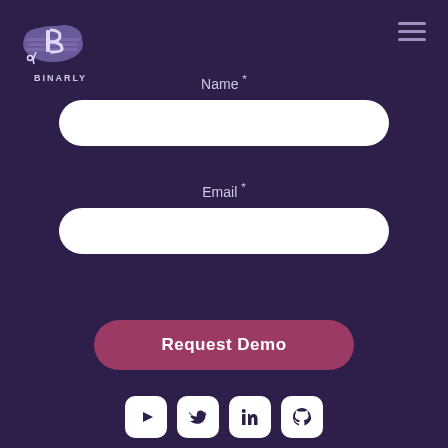[Figure (logo): Binarly logo with stylized 'B' cloud icon and BINARLY text]
[Figure (illustration): Hamburger menu icon (three horizontal lines) in top right corner]
Name *
[Figure (illustration): White rounded rectangle input field for Name]
Email *
[Figure (illustration): White rounded rectangle input field for Email]
Request Demo
[Figure (illustration): Social media icons: YouTube, Twitter, LinkedIn, GitHub — white rounded square icons on dark purple background]